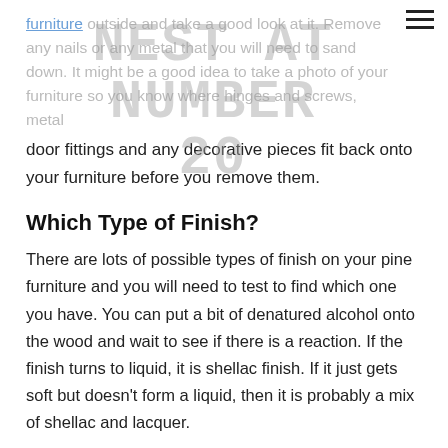[Figure (other): Handwritten watermark overlay text reading 'NEST AT NUMBER 20' in large sketchy letters across the top portion of the page]
furniture outside and take a good look at it. Remove any nails or any metal that you will need to sand down. It might be a good idea to take a photo of your furniture so you know where hinges and screws, metal door fittings and any decorative pieces fit back onto your furniture before you remove them.
Which Type of Finish?
There are lots of possible types of finish on your pine furniture and you will need to test to find which one you have. You can put a bit of denatured alcohol onto the wood and wait to see if there is a reaction. If the finish turns to liquid, it is shellac finish. If it just gets soft but doesn't form a liquid, then it is probably a mix of shellac and lacquer.